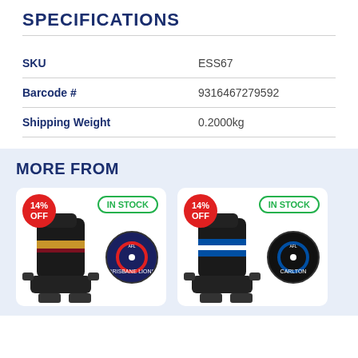SPECIFICATIONS
| Attribute | Value |
| --- | --- |
| SKU | ESS67 |
| Barcode # | 9316467279592 |
| Shipping Weight | 0.2000kg |
MORE FROM
[Figure (photo): Product card 1: Car seat cover with 14% OFF badge and IN STOCK badge, showing AFL Brisbane Lions themed seat cover and steering wheel cover]
[Figure (photo): Product card 2: Car seat cover with 14% OFF badge and IN STOCK badge, showing AFL Carlton themed seat cover and steering wheel cover]